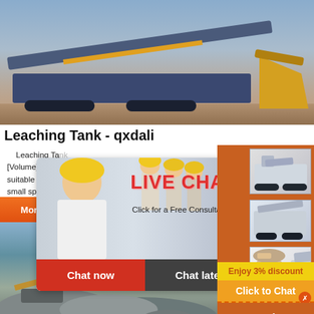[Figure (photo): Mining/crushing machine (blue mobile jaw crusher) on a dirt ground with an excavator bucket visible on the right]
Leaching Tank - qxdali
Leaching Tank [Volume] 6-174... suitable for gol... small specific g... more than 90%...
[Figure (screenshot): Live chat popup overlay with a woman in white blouse and yellow hard hat, workers in background. Text: LIVE CHAT, Click for a Free Consultation, Chat now, Chat later]
[Figure (photo): Quarry/mining site with machinery and rocks]
[Figure (infographic): Right sidebar with orange background showing crusher/mill equipment images, Enjoy 3% discount banner (yellow), Click to Chat button (orange), Enquiry label (orange)]